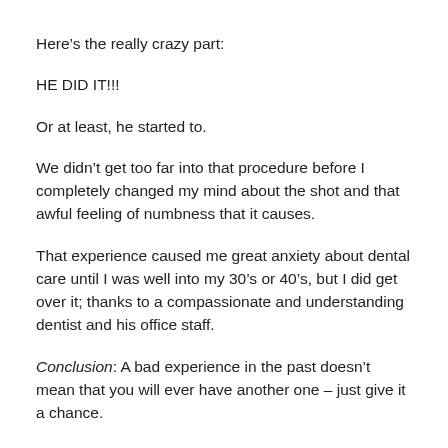Here’s the really crazy part:
HE DID IT!!!
Or at least, he started to.
We didn’t get too far into that procedure before I completely changed my mind about the shot and that awful feeling of numbness that it causes.
That experience caused me great anxiety about dental care until I was well into my 30’s or 40’s, but I did get over it; thanks to a compassionate and understanding dentist and his office staff.
Conclusion: A bad experience in the past doesn’t mean that you will ever have another one – just give it a chance.
Don’t Avoid The Dentist – Call!
The main thing I want you to take away from this post is this: